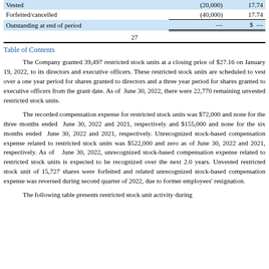|  | Shares | Weighted Average Grant Date Fair Value |
| --- | --- | --- |
| Vested | (20,000) | 17.74 |
| Forfeited/cancelled | (40,000) | 17.74 |
| Outstanding at end of period | — | $ — |
27
Table of Contents
The Company granted 39,497 restricted stock units at a closing price of $27.16 on January 19, 2022, to its directors and executive officers. These restricted stock units are scheduled to vest over a one year period for shares granted to directors and a three year period for shares granted to executive officers from the grant date. As of June 30, 2022, there were 22,770 remaining unvested restricted stock units.
The recorded compensation expense for restricted stock units was $72,000 and none for the three months ended June 30, 2022 and 2021, respectively and $155,000 and none for the six months ended June 30, 2022 and 2021, respectively. Unrecognized stock-based compensation expense related to restricted stock units was $522,000 and zero as of June 30, 2022 and 2021, respectively. As of June 30, 2022, unrecognized stock-based compensation expense related to restricted stock units is expected to be recognized over the next 2.0 years. Unvested restricted stock unit of 15,727 shares were forfeited and related unrecognized stock-based compensation expense was reversed during second quarter of 2022, due to former employees' resignation.
The following table presents restricted stock unit activity during the...